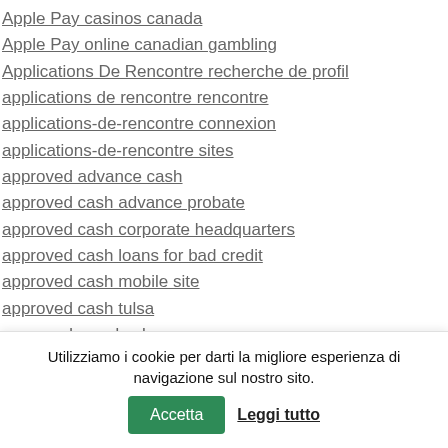Apple Pay casinos canada
Apple Pay online canadian gambling
Applications De Rencontre recherche de profil
applications de rencontre rencontre
applications-de-rencontre connexion
applications-de-rencontre sites
approved advance cash
approved cash advance probate
approved cash corporate headquarters
approved cash loans for bad credit
approved cash mobile site
approved cash tulsa
approved pay day loan
approved payday loans
Apps best casinos
Apps best casinos ca
Utilizziamo i cookie per darti la migliore esperienza di navigazione sul nostro sito.
Accetta
Leggi tutto